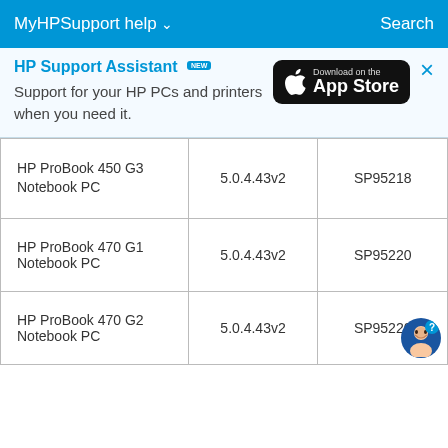MyHPSupport help ∨   Search
[Figure (screenshot): HP Support Assistant banner with App Store download button. Title: HP Support Assistant [NEW badge]. Text: Support for your HP PCs and printers when you need it. App Store button on right. X close button on far right.]
| HP ProBook 450 G3 Notebook PC | 5.0.4.43v2 | SP95218 |
| HP ProBook 470 G1 Notebook PC | 5.0.4.43v2 | SP95220 |
| HP ProBook 470 G2 Notebook PC | 5.0.4.43v2 | SP95220 |